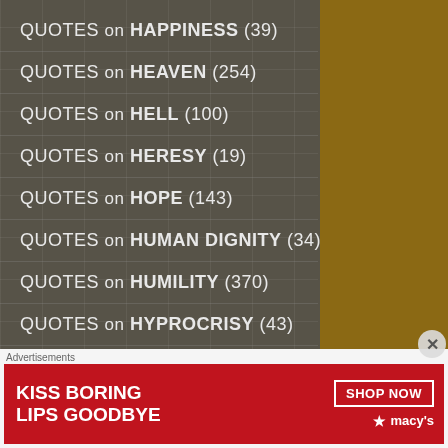QUOTES on HAPPINESS (39)
QUOTES on HEAVEN (254)
QUOTES on HELL (100)
QUOTES on HERESY (19)
QUOTES on HOPE (143)
QUOTES on HUMAN DIGNITY (34)
QUOTES on HUMILITY (370)
QUOTES on HYPROCRISY (43)
QUOTES on HYPROCRISY/HYPOCRITES (2)
QUOTES on IGNORANCE (6)
QUOTES on INDIFFERENCE (9)
Advertisements
[Figure (photo): Macy's advertisement banner: KISS BORING LIPS GOODBYE with a woman's face and SHOP NOW button with Macy's star logo]